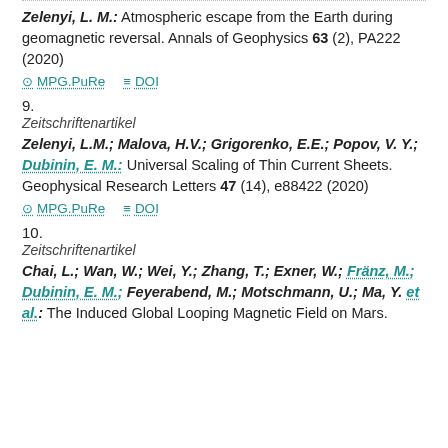Zelenyi, L. M.: Atmospheric escape from the Earth during geomagnetic reversal. Annals of Geophysics 63 (2), PA222 (2020)
MPG.PuRe  DOI
9.
Zeitschriftenartikel
Zelenyi, L.M.; Malova, H.V.; Grigorenko, E.E.; Popov, V. Y.; Dubinin, E. M.: Universal Scaling of Thin Current Sheets. Geophysical Research Letters 47 (14), e88422 (2020)
MPG.PuRe  DOI
10.
Zeitschriftenartikel
Chai, L.; Wan, W.; Wei, Y.; Zhang, T.; Exner, W.; Fränz, M.; Dubinin, E. M.; Feyerabend, M.; Motschmann, U.; Ma, Y. et al.: The Induced Global Looping Magnetic Field on Mars.